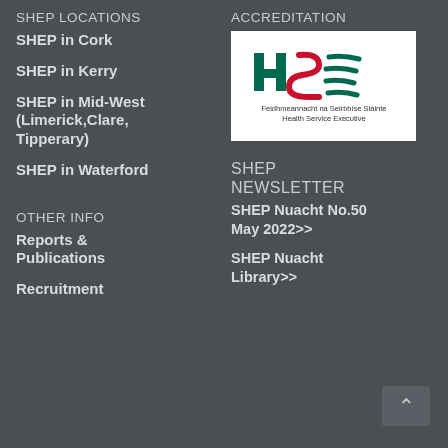SHEP LOCATIONS
SHEP in Cork
SHEP in Kerry
SHEP in Mid-West (Limerick,Clare, Tipperary)
SHEP in Waterford
ACCREDITATION
[Figure (logo): HSE Health Service Executive logo with Irish text: Feidhmeannacht na Seirbhíse Sláinte Health Service Executive]
SHEP NEWSLETTER
SHEP Nuacht No.50 May 2022>>
SHEP Nuacht Library>>
OTHER INFO
Reports & Publications
Recruitment